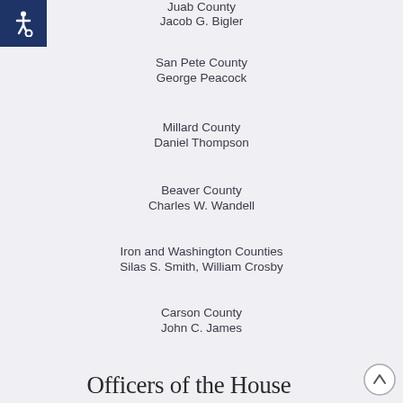[Figure (other): Accessibility icon (wheelchair symbol) in dark navy square]
Juab County
Jacob G. Bigler
San Pete County
George Peacock
Millard County
Daniel Thompson
Beaver County
Charles W. Wandell
Iron and Washington Counties
Silas S. Smith, William Crosby
Carson County
John C. James
Officers of the House